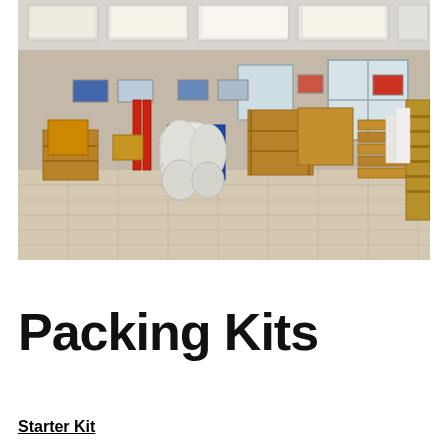[Figure (photo): Interior of a shipping/packing supply store showing a large room with tile floors, bubble wrap rolls on a stand, stacks of cardboard boxes and flat-pack boxes, shelving with supplies along the right wall, and framed pictures on the walls.]
Packing Kits
Starter Kit